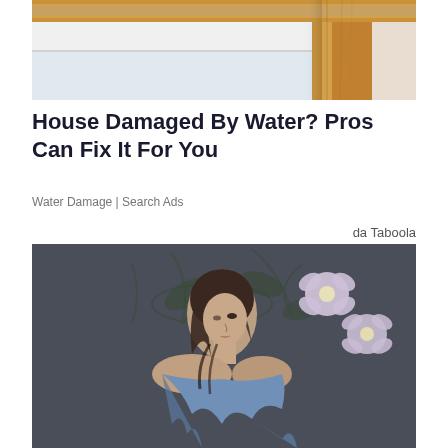[Figure (photo): Top portion of a window frame with wooden trim in warm golden-brown color, partial view of a window with white roller blind, against a light beige wall.]
House Damaged By Water? Pros Can Fix It For You
Water Damage | Search Ads
da Taboola
[Figure (photo): Painting or artistic photograph of a young woman with dark hair, looking upward, wearing a blue draped garment, against a dark gray-green background with painted floral/botanical motifs and large white/pink flowers.]